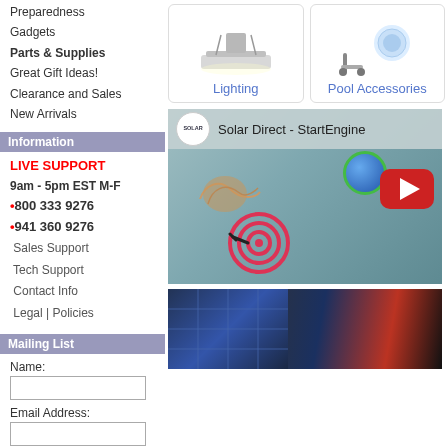Preparedness
Gadgets
Parts & Supplies
Great Gift Ideas!
Clearance and Sales
New Arrivals
Information
LIVE SUPPORT
9am - 5pm EST M-F
•800 333 9276
•941 360 9276
Sales Support
Tech Support
Contact Info
Legal | Policies
Mailing List
Name:
Email Address:
Add:
Remove:
Manufacturers
[Figure (screenshot): Product tile showing fluorescent lighting fixture image, labeled 'Lighting' in blue text]
[Figure (screenshot): Product tile showing pool accessory image, labeled 'Pool Accessories' in blue text]
[Figure (screenshot): Video thumbnail for 'Solar Direct - StartEngine' YouTube video with Solar logo, handshake icon, globe icon, target icon, and red play button]
[Figure (photo): Bottom image showing solar panels and electronic equipment]